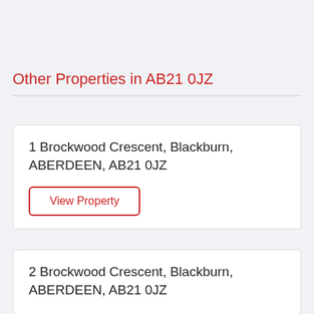Other Properties in AB21 0JZ
1 Brockwood Crescent, Blackburn, ABERDEEN, AB21 0JZ
View Property
2 Brockwood Crescent, Blackburn, ABERDEEN, AB21 0JZ